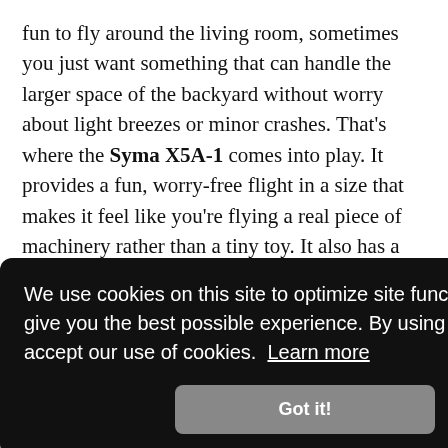fun to fly around the living room, sometimes you just want something that can handle the larger space of the backyard without worry about light breezes or minor crashes. That's where the Syma X5A-1 comes into play. It provides a fun, worry-free flight in a size that makes it feel like you're flying a real piece of machinery rather than a tiny toy. It also has a headless flight mode so that beginners can get oriented more easily.
[Figure (screenshot): Cookie consent overlay on dark background with text: 'We use cookies on this site to optimize site functionality and give you the best possible experience. By using this site, you accept our use of cookies. Learn more' and a 'Got it!' button. Behind the overlay, partial text lines ending in 'ded', 'ht', 'find on', 'vever,', 'about', 'odels' are visible on the right side.]
cost.